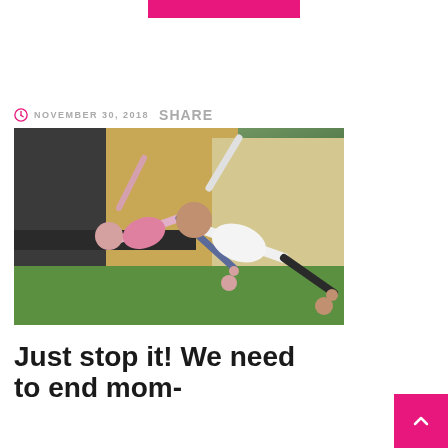[Figure (other): Pink decorative bar at top of page]
NOVEMBER 30, 2018  SHARE
[Figure (photo): Two women doing side plank yoga poses outdoors on grass, with urban buildings in the background. One woman wears a pink shirt, the other a white shirt.]
Just stop it! We need to end mom-